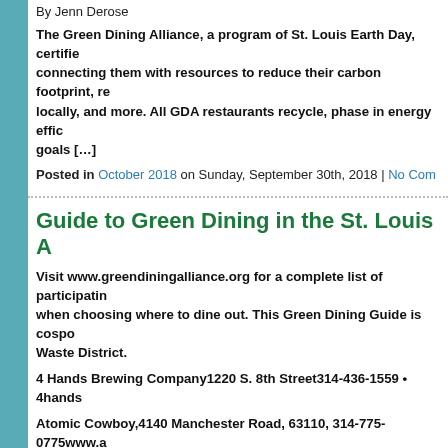By Jenn Derose
The Green Dining Alliance, a program of St. Louis Earth Day, certifies connecting them with resources to reduce their carbon footprint, re locally, and more. All GDA restaurants recycle, phase in energy effic goals [...]
Posted in October 2018 on Sunday, September 30th, 2018 | No Com
Guide to Green Dining in the St. Louis A
Visit www.greendiningalliance.org for a complete list of participatin when choosing where to dine out. This Green Dining Guide is cosp Waste District.
4 Hands Brewing Company1220 S. 8th Street314-436-1559 • 4hands
Atomic Cowboy,4140 Manchester Road, 63110, 314-775-0775www.a
Avenue Restaurant,12 N. Meramec, 63105, 314-727-4141.www.avest
Bailey's [...]
Posted in December 2016, December 2017, December 2018, Decemb November 2016, November 2017, November 2018, November 2019,